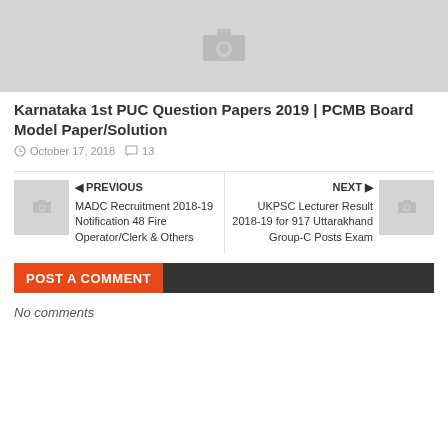[Figure (photo): Placeholder image with camera icon, gray background]
Karnataka 1st PUC Question Papers 2019 | PCMB Board Model Paper/Solution
October 17, 2018   13
PREVIOUS
MADC Recruitment 2018-19 Notification 48 Fire Operator/Clerk & Others
NEXT
UKPSC Lecturer Result 2018-19 for 917 Uttarakhand Group-C Posts Exam
POST A COMMENT
No comments